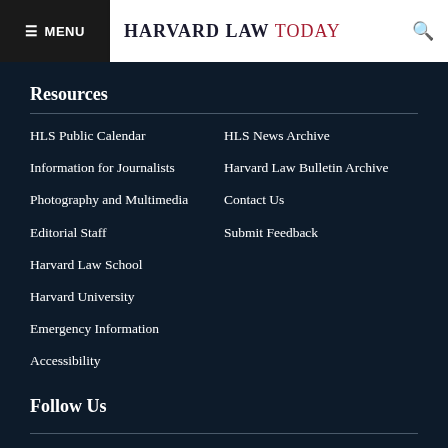MENU | HARVARD LAW TODAY
Resources
HLS Public Calendar
Information for Journalists
Photography and Multimedia
Editorial Staff
Harvard Law School
Harvard University
Emergency Information
Accessibility
HLS News Archive
Harvard Law Bulletin Archive
Contact Us
Submit Feedback
Follow Us